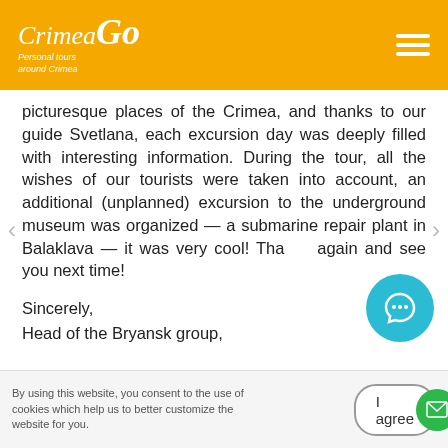CrimeaGo — Personal tours around Crimea
picturesque places of the Crimea, and thanks to our guide Svetlana, each excursion day was deeply filled with interesting information. During the tour, all the wishes of our tourists were taken into account, an additional (unplanned) excursion to the underground museum was organized — a submarine repair plant in Balaklava — it was very cool! Tha... again and see you next time!
Sincerely,
Head of the Bryansk group,
By using this website, you consent to the use of cookies which help us to better customize the website for you.